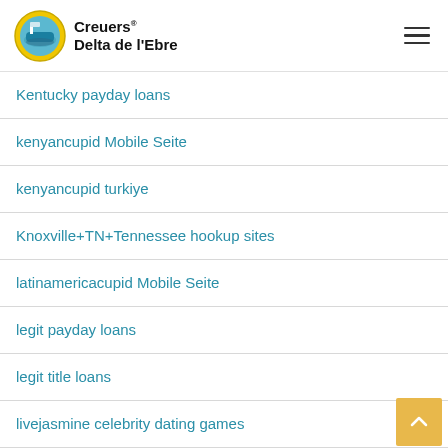Creuers Delta de l'Ebre
Kentucky payday loans
kenyancupid Mobile Seite
kenyancupid turkiye
Knoxville+TN+Tennessee hookup sites
latinamericacupid Mobile Seite
legit payday loans
legit title loans
livejasmine celebrity dating games